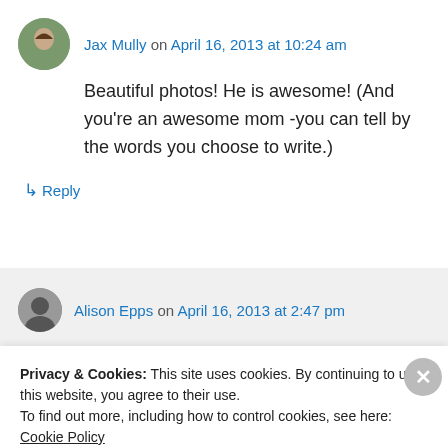Jax Mully on April 16, 2013 at 10:24 am
Beautiful photos! He is awesome! (And you're an awesome mom -you can tell by the words you choose to write.)
↳ Reply
Alison Epps on April 16, 2013 at 2:47 pm
Thank you for your sweet comments. I am
Privacy & Cookies: This site uses cookies. By continuing to use this website, you agree to their use.
To find out more, including how to control cookies, see here: Cookie Policy
Close and accept